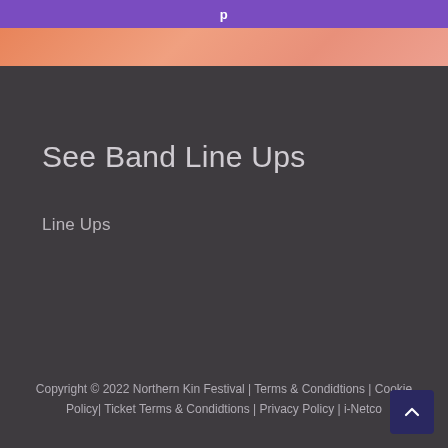[Figure (other): Purple button/banner at top of page]
[Figure (other): Salmon/coral decorative band]
See Band Line Ups
Line Ups
Copyright © 2022 Northern Kin Festival | Terms & Condidtions | Cookie Policy| Ticket Terms & Condidtions | Privacy Policy | i-Netco